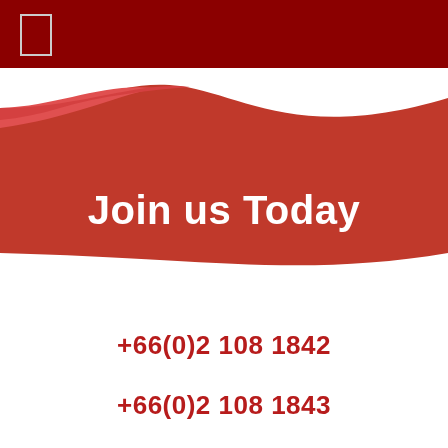[Figure (illustration): Dark red header bar with a small logo/icon box in the top-left corner, and a red ribbon/wave graphic below it containing the title text 'Join us Today' in white bold font.]
Join us Today
+66(0)2 108 1842
+66(0)2 108 1843